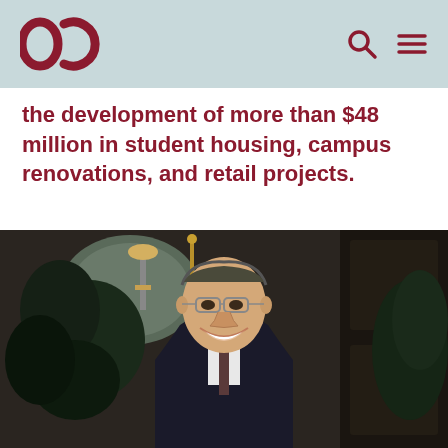OC logo with search and menu icons
the development of more than $48 million in student housing, campus renovations, and retail projects.
[Figure (photo): Portrait photograph of a middle-aged man with glasses, wearing a dark suit, smiling, with an indoor background featuring plants and decorative elements]